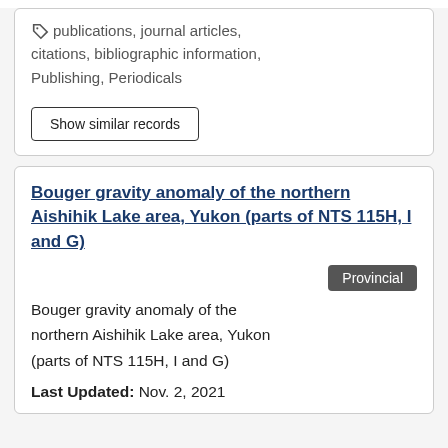publications, journal articles, citations, bibliographic information, Publishing, Periodicals
Show similar records
Bouger gravity anomaly of the northern Aishihik Lake area, Yukon (parts of NTS 115H, I and G)
Provincial
Bouger gravity anomaly of the northern Aishihik Lake area, Yukon (parts of NTS 115H, I and G)
Last Updated: Nov. 2, 2021